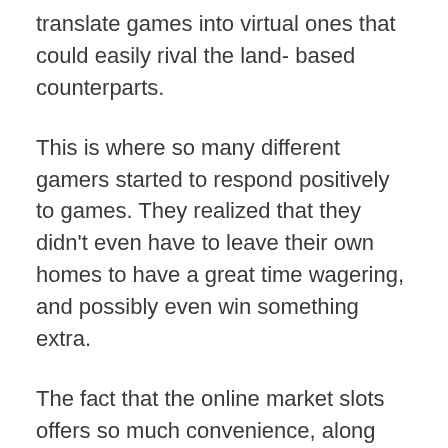translate games into virtual ones that could easily rival the land- based counterparts.
This is where so many different gamers started to respond positively to games. They realized that they didn't even have to leave their own homes to have a great time wagering, and possibly even win something extra.
The fact that the online market slots offers so much convenience, along with the ability to win a lot of cash makes it one of the quickest online growing markets out there. It doesn't stop there though.